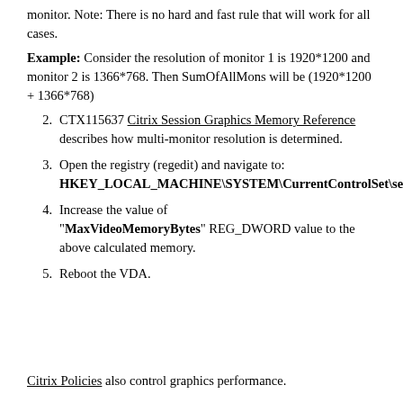monitor. Note: There is no hard and fast rule that will work for all cases.
Example: Consider the resolution of monitor 1 is 1920*1200 and monitor 2 is 1366*768. Then SumOfAllMons will be (1920*1200 + 1366*768)
2. CTX115637 Citrix Session Graphics Memory Reference describes how multi-monitor resolution is determined.
3. Open the registry (regedit) and navigate to: HKEY_LOCAL_MACHINE\SYSTEM\CurrentControlSet\services\vbdenum
4. Increase the value of "MaxVideoMemoryBytes" REG_DWORD value to the above calculated memory.
5. Reboot the VDA.
Citrix Policies also control graphics performance.